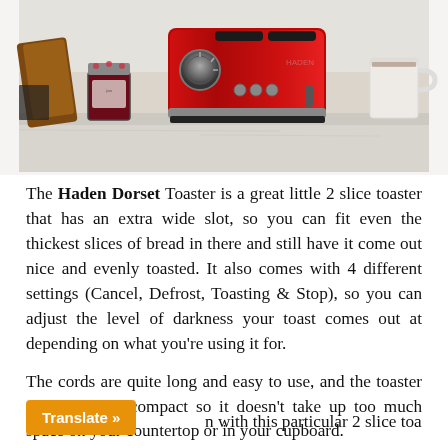[Figure (photo): A red Haden Dorset 2-slice toaster on a marble countertop, surrounded by sliced bread, a jar of jam, and a white mug against a light wall background.]
The Haden Dorset Toaster is a great little 2 slice toaster that has an extra wide slot, so you can fit even the thickest slices of bread in there and still have it come out nice and evenly toasted. It also comes with 4 different settings (Cancel, Defrost, Toasting & Stop), so you can adjust the level of darkness your toast comes out at depending on what you're using it for.
The cords are quite long and easy to use, and the toaster itself is quite compact so it doesn't take up too much space on your countertop or in your cupboard.
Translate »  n with this particular 2 slice toaster is